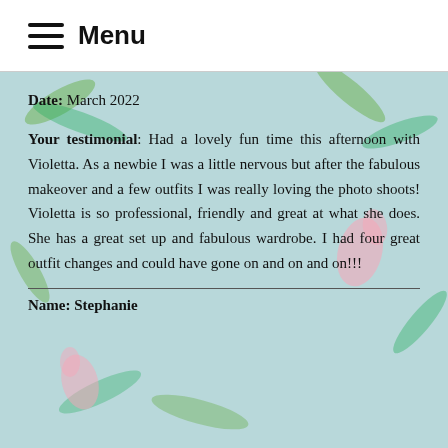Menu
Date: March 2022
Your testimonial: Had a lovely fun time this afternoon with Violetta. As a newbie I was a little nervous but after the fabulous makeover and a few outfits I was really loving the photo shoots! Violetta is so professional, friendly and great at what she does. She has a great set up and fabulous wardrobe. I had four great outfit changes and could have gone on and on and on!!!
Name: Stephanie